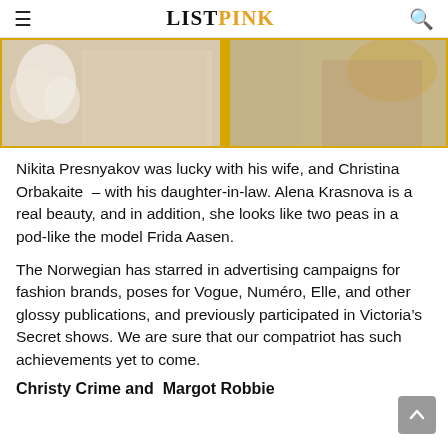LIST PINK
[Figure (photo): Collage of two wedding/formal dress photos separated by a yellow divider. Left panel shows a bride holding white flowers in a lace dress. Right panel shows a woman from behind in a sparkly backless gown.]
Nikita Presnyakov was lucky with his wife, and Christina Orbakaite – with his daughter-in-law. Alena Krasnova is a real beauty, and in addition, she looks like two peas in a pod-like the model Frida Aasen.
The Norwegian has starred in advertising campaigns for fashion brands, poses for Vogue, Numéro, Elle, and other glossy publications, and previously participated in Victoria's Secret shows. We are sure that our compatriot has such achievements yet to come.
Christy Crime and  Margot Robbie